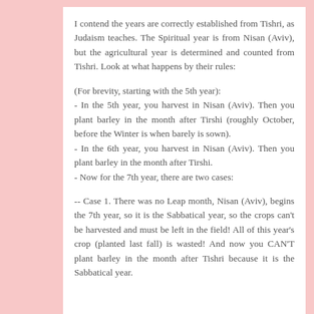I contend the years are correctly established from Tishri, as Judaism teaches. The Spiritual year is from Nisan (Aviv), but the agricultural year is determined and counted from Tishri. Look at what happens by their rules:
(For brevity, starting with the 5th year):
- In the 5th year, you harvest in Nisan (Aviv). Then you plant barley in the month after Tirshi (roughly October, before the Winter is when barely is sown).
- In the 6th year, you harvest in Nisan (Aviv). Then you plant barley in the month after Tirshi.
- Now for the 7th year, there are two cases:
-- Case 1. There was no Leap month, Nisan (Aviv), begins the 7th year, so it is the Sabbatical year, so the crops can't be harvested and must be left in the field! All of this year's crop (planted last fall) is wasted! And now you CAN'T plant barley in the month after Tishri because it is the Sabbatical year.